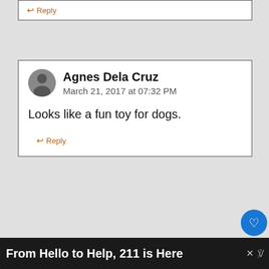↩ Reply
Agnes Dela Cruz
March 21, 2017 at 07:32 PM
Looks like a fun toy for dogs.
↩ Reply
Hana Harman
March 21, 2017 at 09:46 PM
Thanks for the chance to win – Fun toy
WHAT'S NEXT → Win a Zogoflex...
From Hello to Help, 211 is Here